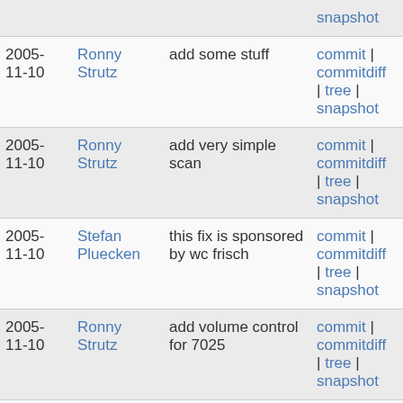| Date | Author | Message | Links |
| --- | --- | --- | --- |
|  |  |  | snapshot |
| 2005-11-10 | Ronny Strutz | add some stuff | commit | commitdiff | tree | snapshot |
| 2005-11-10 | Ronny Strutz | add very simple scan | commit | commitdiff | tree | snapshot |
| 2005-11-10 | Stefan Pluecken | this fix is sponsored by wc frisch | commit | commitdiff | tree | snapshot |
| 2005-11-10 | Ronny Strutz | add volume control for 7025 | commit | commitdiff | tree | snapshot |
| 2005- | Stefan | self. | commit | |